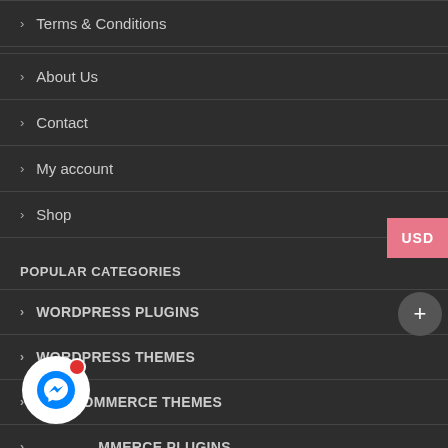Terms & Conditions
About Us
Contact
My account
Shop
POPULAR CATEGORIES
WORDPRESS PLUGINS
WORDPRESS THEMES
WOOCOMMERCE THEMES
WOOCOMMERCE PLUGINS
[Figure (screenshot): USD currency selector button (pink/salmon background) at top right edge]
[Figure (screenshot): Dark circular plus (+) button at right edge]
[Figure (screenshot): Facebook Messenger chat icon (white circle with blue messenger logo and red notification dot) at bottom left]